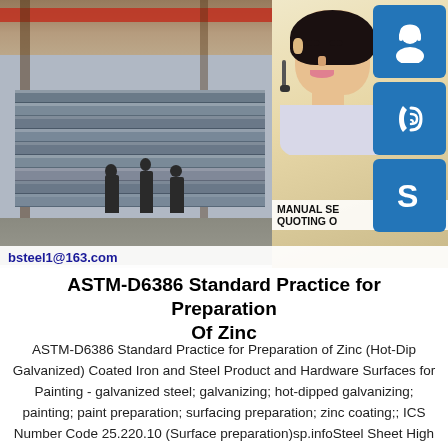[Figure (photo): Industrial warehouse with steel plates stacked, workers visible in background; overlaid with photo of female customer service representative with headset, and blue icon buttons for chat/call/Skype]
ASTM-D6386 Standard Practice for Preparation Of Zinc
ASTM-D6386 Standard Practice for Preparation of Zinc (Hot-Dip Galvanized) Coated Iron and Steel Product and Hardware Surfaces for Painting - galvanized steel; galvanizing; hot-dipped galvanizing; painting; paint preparation; surfacing preparation; zinc coating;; ICS Number Code 25.220.10 (Surface preparation)sp.infoSteel Sheet High Strength Steel PlatePrice Steel Plate Sand Blasting And